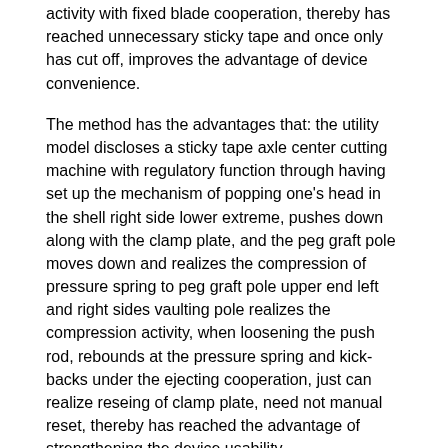activity with fixed blade cooperation, thereby has reached unnecessary sticky tape and once only has cut off, improves the advantage of device convenience.
The method has the advantages that: the utility model discloses a sticky tape axle center cutting machine with regulatory function through having set up the mechanism of popping one's head in the shell right side lower extreme, pushes down along with the clamp plate, and the peg graft pole moves down and realizes the compression of pressure spring to peg graft pole upper end left and right sides vaulting pole realizes the compression activity, when loosening the push rod, rebounds at the pressure spring and kick-backs under the ejecting cooperation, just can realize reseing of clamp plate, need not manual reset, thereby has reached the advantage of strengthening the device usability.
Drawings
Other features, objects and advantages of the invention will become more apparent upon reading of the detailed description of non-limiting embodiments with reference to the following drawings: